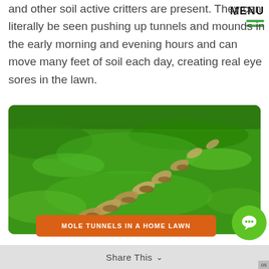and other soil active critters are present. They can literally be seen pushing up tunnels and mounds in the early morning and evening hours and can move many feet of soil each day, creating real eye sores in the lawn.
[Figure (photo): A close-up photograph of a green lawn showing a trail of mole tunnels creating raised ridges and disturbed soil running diagonally across the grass.]
MOLE TUNNELS IN A HOME LAWN
Share This